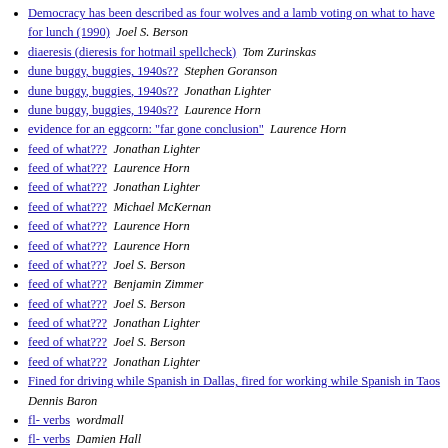Democracy has been described as four wolves and a lamb voting on what to have for lunch (1990)  Joel S. Berson
diaeresis (dieresis for hotmail spellcheck)  Tom Zurinskas
dune buggy, buggies, 1940s??  Stephen Goranson
dune buggy, buggies, 1940s??  Jonathan Lighter
dune buggy, buggies, 1940s??  Laurence Horn
evidence for an eggcorn: "far gone conclusion"  Laurence Horn
feed of what???  Jonathan Lighter
feed of what???  Laurence Horn
feed of what???  Jonathan Lighter
feed of what???  Michael McKernan
feed of what???  Laurence Horn
feed of what???  Laurence Horn
feed of what???  Joel S. Berson
feed of what???  Benjamin Zimmer
feed of what???  Joel S. Berson
feed of what???  Jonathan Lighter
feed of what???  Joel S. Berson
feed of what???  Jonathan Lighter
Fined for driving while Spanish in Dallas, fired for working while Spanish in Taos  Dennis Baron
fl- verbs  wordmall
fl- verbs  Damien Hall
fl- verbs  Damien Hall